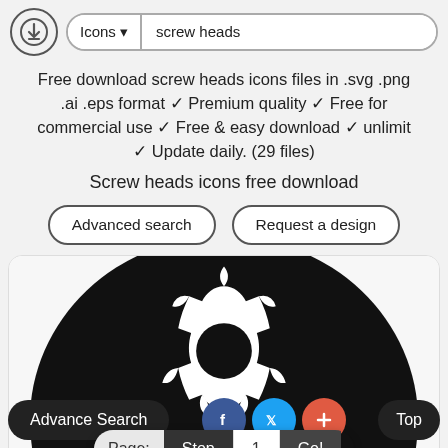Icons ▾  screw heads
Free download screw heads icons files in .svg .png .ai .eps format ✓ Premium quality ✓ Free for commercial use ✓ Free & easy download ✓ unlimit ✓ Update daily. (29 files)
Screw heads icons free download
Advanced search   Request a design
[Figure (illustration): Screw head icon — black gear/bolt shape with cogwheel pattern against a large black semicircle background, shown on a white card]
Page: Stop  1  Go!
Advance Search   [Facebook] [Twitter] [+] Top